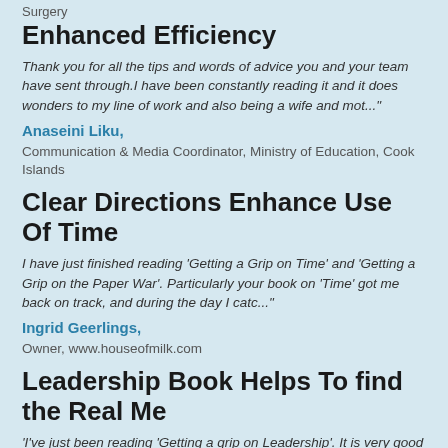Surgery
Enhanced Efficiency
Thank you for all the tips and words of advice you and your team have sent through.I have been constantly reading it and it does wonders to my line of work and also being a wife and mot..."
Anaseini Liku,
Communication & Media Coordinator, Ministry of Education, Cook Islands
Clear Directions Enhance Use Of Time
I have just finished reading 'Getting a Grip on Time' and 'Getting a Grip on the Paper War'.  Particularly your book on 'Time' got me back on track, and during the day I catc..."
Ingrid Geerlings,
Owner, www.houseofmilk.com
Leadership Book Helps To find the Real Me
'I've just been reading 'Getting a grip on Leadership'.  It is very good and has had an impact on me.  I realised I'd lost my way a bit re who I am ..."
Heather Millar,